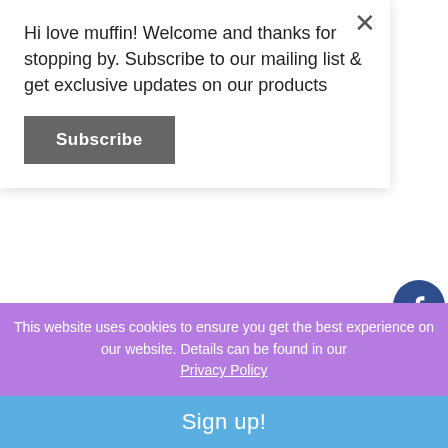Hi love muffin! Welcome and thanks for stopping by. Subscribe to our mailing list & get exclusive updates on our products
Subscribe
August 04, 2021
10 Amazing Benefits of Sweet Potato - Food Medicine
June 29, 2021
This website uses cookies to ensure you get the best experience on our website. Details can be found in our Privacy Policy
Sign up!